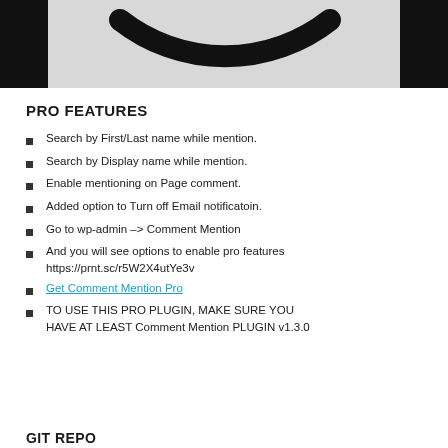[Figure (illustration): Partial view of a smiley face icon cropped at top, showing the curved smile arc on a light gray background with black border bars on left and right.]
PRO FEATURES
Search by First/Last name while mention.
Search by Display name while mention.
Enable mentioning on Page comment.
Added option to Turn off Email notificatoin.
Go to wp-admin -> Comment Mention
And you will see options to enable pro features https://prnt.sc/r5W2X4utYe3v
Get Comment Mention Pro
TO USE THIS PRO PLUGIN, MAKE SURE YOU HAVE AT LEAST Comment Mention PLUGIN v1.3.0
GIT REPO